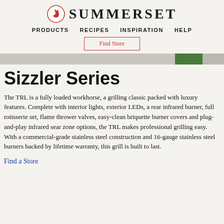SUMMERSET
PRODUCTS  RECIPES  INSPIRATION  HELP
Find Store
[Figure (photo): Hero banner image strip showing a grill or outdoor scene, partially visible]
Sizzler Series
The TRL is a fully loaded workhorse, a grilling classic packed with luxury features. Complete with interior lights, exterior LEDs, a rear infrared burner, full rotisserie set, flame thrower valves, easy-clean briquette burner covers and plug-and-play infrared sear zone options, the TRL makes professional grilling easy. With a commercial-grade stainless steel construction and 16-gauge stainless steel burners backed by lifetime warranty, this grill is built to last.
Find a Store